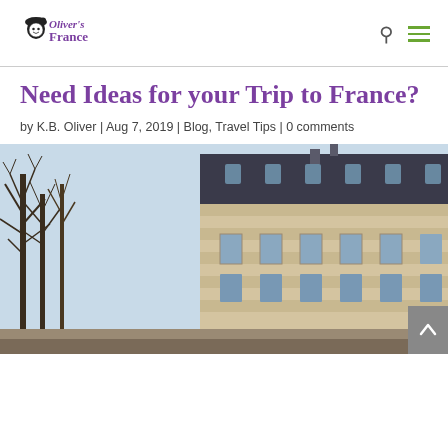[Figure (logo): Oliver's France website logo with beret-wearing Oliver figure and stylized text]
Need Ideas for your Trip to France?
by K.B. Oliver | Aug 7, 2019 | Blog, Travel Tips | 0 comments
[Figure (photo): Street-level view of classic Parisian architecture with Haussmann-style cream stone buildings and bare trees in autumn/winter against a light blue sky]